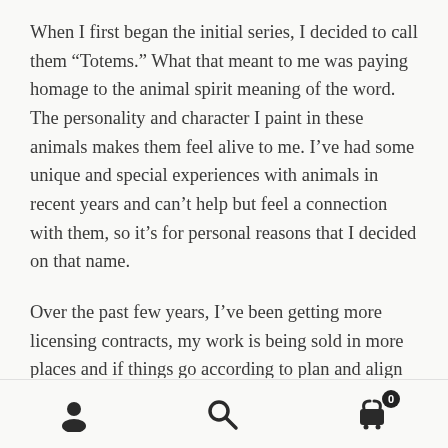When I first began the initial series, I decided to call them “Totems.” What that meant to me was paying homage to the animal spirit meaning of the word. The personality and character I paint in these animals makes them feel alive to me. I’ve had some unique and special experiences with animals in recent years and can’t help but feel a connection with them, so it’s for personal reasons that I decided on that name.
Over the past few years, I’ve been getting more licensing contracts, my work is being sold in more places and if things go according to plan and align
[navigation icons: profile, search, cart (0)]